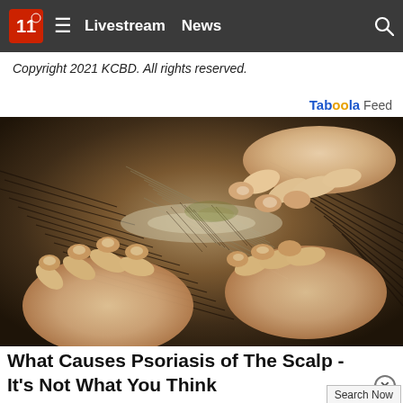Livestream  News
Copyright 2021 KCBD. All rights reserved.
Tab99la Feed
[Figure (photo): Close-up photo of hands parting dark hair on a scalp, examining for psoriasis or scalp condition]
What Causes Psoriasis of The Scalp - It's Not What You Think